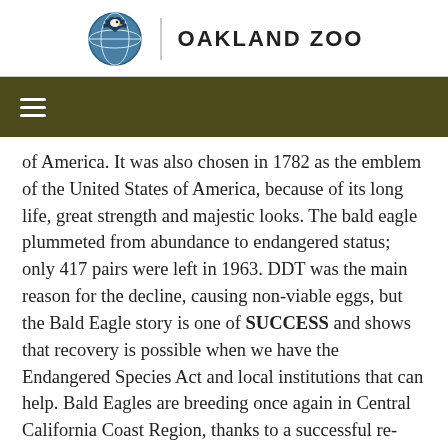[Figure (logo): Oakland Zoo logo with globe/eagle icon and 'OAKLAND ZOO' text]
☰
of America. It was also chosen in 1782 as the emblem of the United States of America, because of its long life, great strength and majestic looks. The bald eagle plummeted from abundance to endangered status; only 417 pairs were left in 1963. DDT was the main reason for the decline, causing non-viable eggs, but the Bald Eagle story is one of SUCCESS and shows that recovery is possible when we have the Endangered Species Act and local institutions that can help. Bald Eagles are breeding once again in Central California Coast Region, thanks to a successful re-introduction project conducted by Ventana Wildlife Society, in cooperation with U.S. Fish and Wildlife Service and California Department of Fish and Game. While their goal was to get to 4 breeding pair,